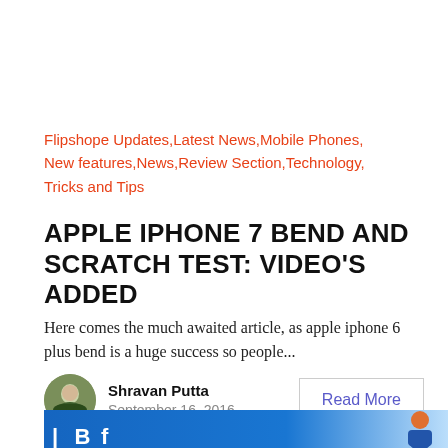Flipshope Updates,Latest News,Mobile Phones, New features,News,Review Section,Technology, Tricks and Tips
APPLE IPHONE 7 BEND AND SCRATCH TEST: VIDEO'S ADDED
Here comes the much awaited article, as apple iphone 6 plus bend is a huge success so people...
Shravan Putta
September 16, 2016
Read More
[Figure (photo): Bottom portion of a news article card showing a blue background with partial text and a person visible on the right side]